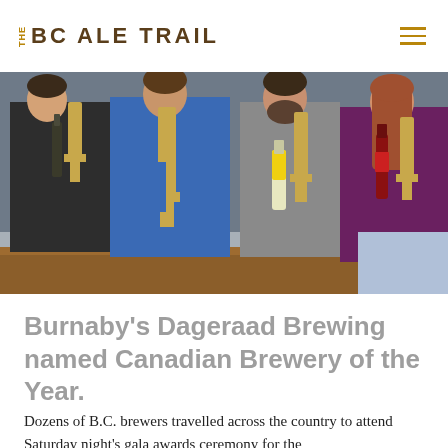THE BC ALE TRAIL
[Figure (photo): Four people standing at a wooden bar or counter, each holding wooden trophy awards and bottles of beer. They appear to be brewery staff celebrating awards wins.]
Burnaby's Dageraad Brewing named Canadian Brewery of the Year.
Dozens of B.C. brewers travelled across the country to attend Saturday night's gala awards ceremony for the